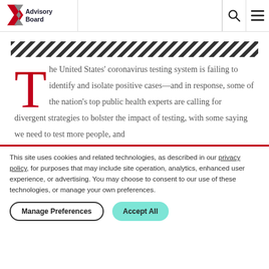Advisory Board
[Figure (illustration): Diagonal hatching stripe decoration bar]
The United States' coronavirus testing system is failing to identify and isolate positive cases—and in response, some of the nation's top public health experts are calling for divergent strategies to bolster the impact of testing, with some saying we need to test more people, and
This site uses cookies and related technologies, as described in our privacy policy, for purposes that may include site operation, analytics, enhanced user experience, or advertising. You may choose to consent to our use of these technologies, or manage your own preferences.
Manage Preferences  Accept All